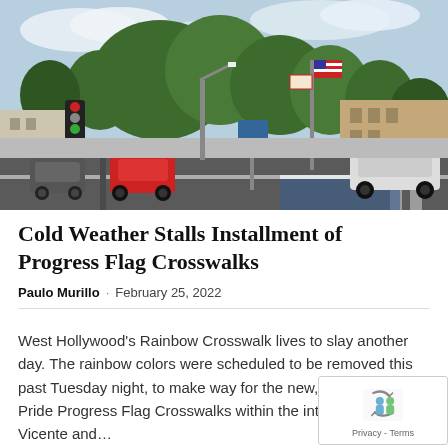[Figure (photo): Street scene of West Hollywood intersection showing traffic, palm and green trees, American flag on pole, parked cars, and commercial buildings]
Cold Weather Stalls Installment of Progress Flag Crosswalks
Paulo Murillo · February 25, 2022
West Hollywood's Rainbow Crosswalk lives to slay another day. The rainbow colors were scheduled to be removed this past Tuesday night, to make way for the new, more inclusive Pride Progress Flag Crosswalks within the intersection of San Vicente and...